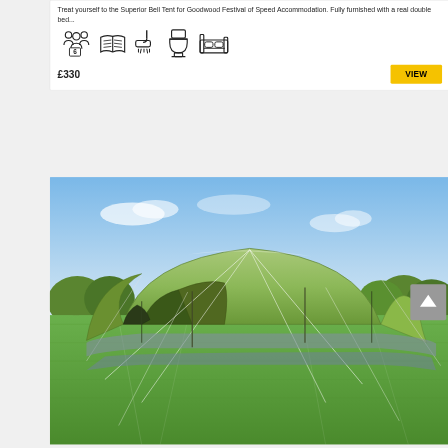Treat yourself to the Superior Bell Tent for Goodwood Festival of Speed Accommodation. Fully furnished with a real double bed...
[Figure (infographic): Row of 5 amenity icons: 6-person capacity (people icon with number 6), bedding (open book/blanket icon), shower (shower head icon), toilet (toilet icon), double bed (bed with pillows icon)]
£330
[Figure (other): Yellow VIEW button]
[Figure (photo): Photograph of a large green tunnel/dome tent pitched on green grass with blue sky and trees in the background. The tent has multiple compartments, guy ropes, and a grey groundsheet visible at the base.]